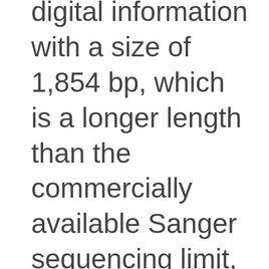digital information with a size of 1,854 bp, which is a longer length than the commercially available Sanger sequencing limit, was sequenced by Oxford nanopore sequencing method. The total number of reads obtained was 104,795. Out of 104,795 reads obtained, 675 reads